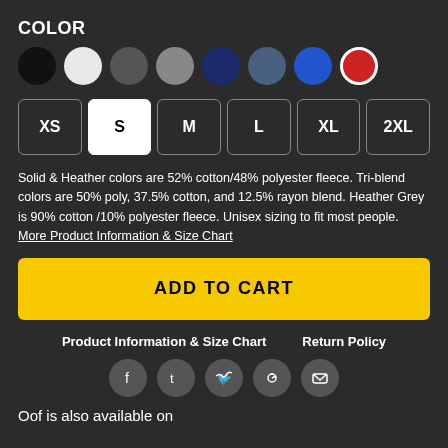COLOR
[Figure (other): Color swatch selector showing 8 circular color options: black, white, dark gray, gray, navy, slate blue, blue, red (red appears selected with white border)]
[Figure (other): Size selector buttons: XS, S (selected/active in white), M, L, XL, 2XL]
Solid & Heather colors are 52% cotton/48% polyester fleece. Tri-blend colors are 50% poly, 37.5% cotton, and 12.5% rayon blend. Heather Grey is 90% cotton /10% polyester fleece. Unisex sizing to fit most people. More Product Information & Size Chart
ADD TO CART
Product Information & Size Chart   Return Policy
[Figure (other): Social sharing icons: Facebook, Tumblr, Twitter, Pinterest, Email - all in gray circles]
Oof is also available on